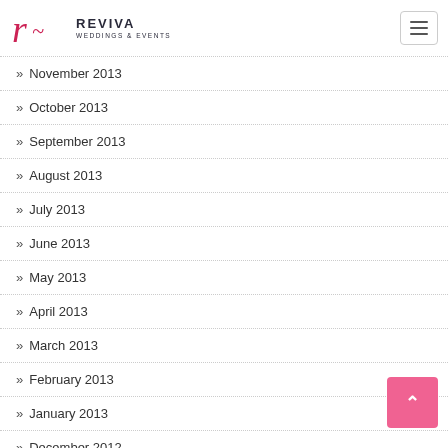REVIVA WEDDINGS & EVENTS
November 2013
October 2013
September 2013
August 2013
July 2013
June 2013
May 2013
April 2013
March 2013
February 2013
January 2013
December 2012
November 2012